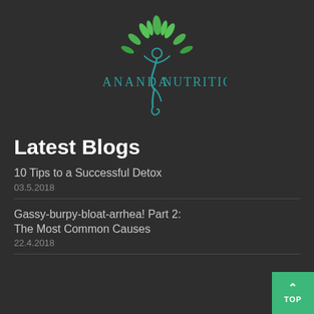[Figure (logo): Ananda Nutrition logo: a stylized yoga figure with green leaves forming a tree on top, teal text reading ANANDA NUTRITION on either side]
Latest Blogs
10 Tips to a Successful Detox
03.5.2018
Gassy-burpy-bloat-arrhea! Part 2: The Most Common Causes
22.4.2018
(partial blog entry visible)